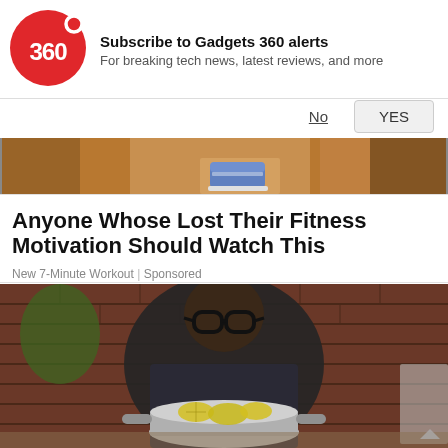[Figure (screenshot): Gadgets 360 logo - red circle with '360' text and a red dot on the upper right]
Subscribe to Gadgets 360 alerts
For breaking tech news, latest reviews, and more
No
YES
[Figure (photo): Partial photo showing person's feet wearing blue sneakers against an orange/tan clothing background]
Anyone Whose Lost Their Fitness Motivation Should Watch This
New 7-Minute Workout | Sponsored
[Figure (photo): A man wearing glasses in a dark patterned shirt holding a large pot with lemon slices, in a kitchen with brick wall background]